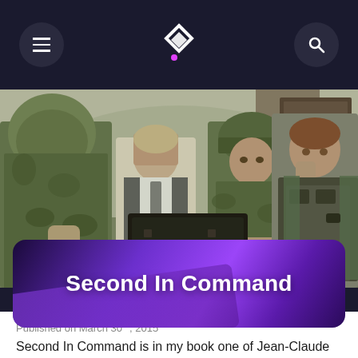Navigation bar with menu, logo, and search icons
[Figure (photo): Movie still from Second In Command showing soldiers and a man in a suit seated around a table in a military/conflict setting. Four people visible including one in camouflage hood on left, a man in white shirt and suit jacket, a soldier in helmet, and a muscular man in tactical vest on the right.]
Second In Command
Published on March 30th, 2015
Second In Command is in my book one of Jean-Claude